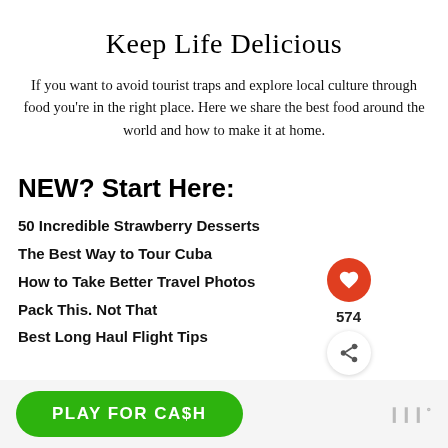Keep Life Delicious
If you want to avoid tourist traps and explore local culture through food you're in the right place. Here we share the best food around the world and how to make it at home.
NEW? Start Here:
50 Incredible Strawberry Desserts
The Best Way to Tour Cuba
How to Take Better Travel Photos
Pack This. Not That
Best Long Haul Flight Tips
[Figure (infographic): Heart icon button (red circle with white heart), like count 574, share button (white circle with share icon), and a 'What's Next' card showing 'A Beginners Guide to...']
PLAY FOR CA$H
[Figure (logo): Wordmark logo with dots and superscript circle, grey color]